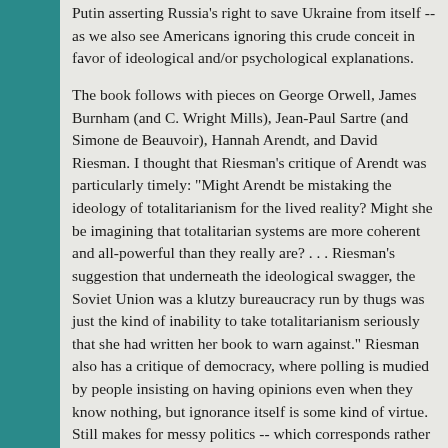Putin asserting Russia's right to save Ukraine from itself -- as we also see Americans ignoring this crude conceit in favor of ideological and/or psychological explanations.
The book follows with pieces on George Orwell, James Burnham (and C. Wright Mills), Jean-Paul Sartre (and Simone de Beauvoir), Hannah Arendt, and David Riesman. I thought that Riesman's critique of Arendt was particularly timely: "Might Arendt be mistaking the ideology of totalitarianism for the lived reality? Might she be imagining that totalitarian systems are more coherent and all-powerful than they really are? . . . Riesman's suggestion that underneath the ideological swagger, the Soviet Union was a klutzy bureaucracy run by thugs was just the kind of inability to take totalitarianism seriously that she had written her book to warn against." Riesman also has a critique of democracy, where polling is mudied by people insisting on having opinions even when they know nothing, but ignorance itself is some kind of virtue. Still makes for messy politics -- which corresponds rather well to history.
Next up was Clement Greenberg and Jackson